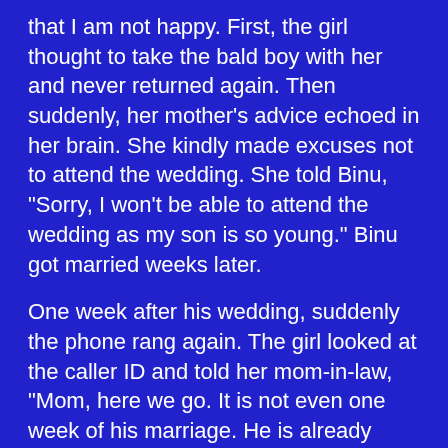that I am not happy. First, the girl thought to take the bald boy with her and never returned again. Then suddenly, her mother's advice echoed in her brain. She kindly made excuses not to attend the wedding. She told Binu, "Sorry, I won't be able to attend the wedding as my son is so young." Binu got married weeks later.

One week after his wedding, suddenly the phone rang again. The girl looked at the caller ID and told her mom-in-law, "Mom, here we go. It is not even one week of his marriage. He is already calling to eat my brain". The girl answered the phone. She did not say a single word but continued to listen to the phone. The girl turned pale, and she looked like a ghost. She turned off the phone without saying a single word. Her mom asked, "This was a quick call." The girl hugged her mom-in-law and started to cry, "Mom, it was not my Binu. It was my cousin Binu's father. Binu is in critical condition and wants to see me". Mom said, "What happened? He just got married". The girl told